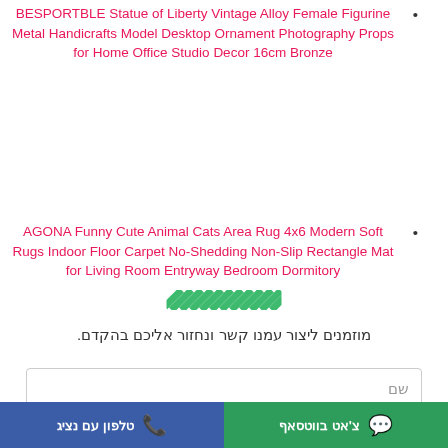BESPORTBLE Statue of Liberty Vintage Alloy Female Figurine Metal Handicrafts Model Desktop Ornament Photography Props for Home Office Studio Decor 16cm Bronze
AGONA Funny Cute Animal Cats Area Rug 4x6 Modern Soft Rugs Indoor Floor Carpet No-Shedding Non-Slip Rectangle Mat for Living Room Entryway Bedroom Dormitory
[Figure (other): Diagonal green and white striped decorative bar/divider]
מוזמנים ליצור עמנו קשר ונחזור אליכם בהקדם.
שם
טלפון עם נציג
צ'אט בווטסאף